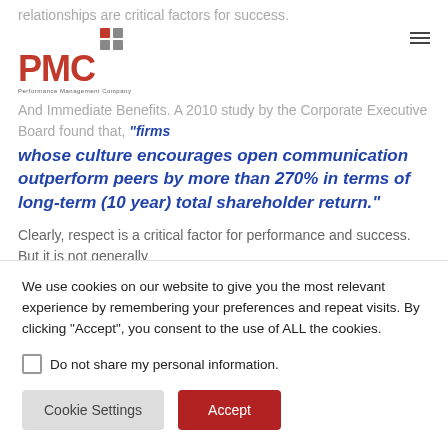[Figure (logo): PMC Performance Management Company logo with red text and dot grid]
relationships are critical factors for success. And Immediate Benefits. A 2010 study by the Corporate Executive Board found that, "firms whose culture encourages open communication outperform peers by more than 270% in terms of long-term (10 year) total shareholder return."
Clearly, respect is a critical factor for performance and success. But it is not generally
We use cookies on our website to give you the most relevant experience by remembering your preferences and repeat visits. By clicking “Accept”, you consent to the use of ALL the cookies.
Do not share my personal information.